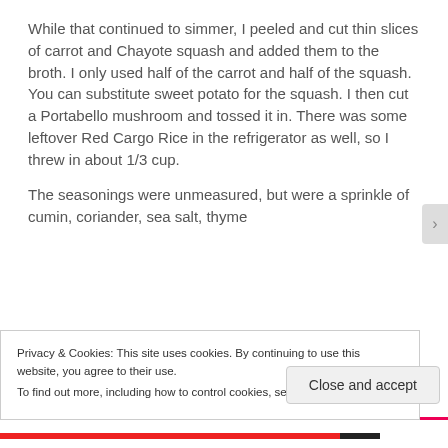While that continued to simmer, I peeled and cut thin slices of carrot and Chayote squash and added them to the broth. I only used half of the carrot and half of the squash. You can substitute sweet potato for the squash. I then cut a Portabello mushroom and tossed it in. There was some leftover Red Cargo Rice in the refrigerator as well, so I threw in about 1/3 cup.
The seasonings were unmeasured, but were a sprinkle of cumin, coriander, sea salt, thyme
Privacy & Cookies: This site uses cookies. By continuing to use this website, you agree to their use.
To find out more, including how to control cookies, see here: Cookie Policy
Close and accept